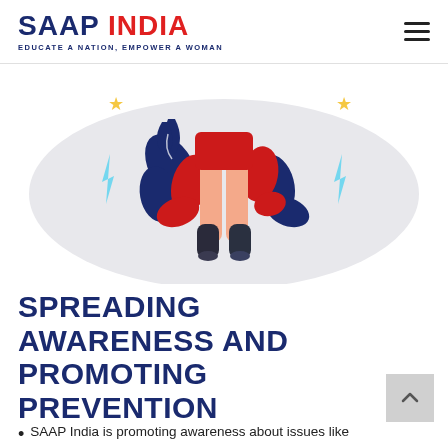SAAP INDIA — EDUCATE A NATION, EMPOWER A WOMAN
[Figure (illustration): Illustration of a woman's lower body in red and navy outfit standing with decorative swirling floral elements in red and navy, lightning bolt shapes in light blue, and gold stars, on a light grey oval background.]
SPREADING AWARENESS AND PROMOTING PREVENTION
SAAP India is promoting awareness about issues like